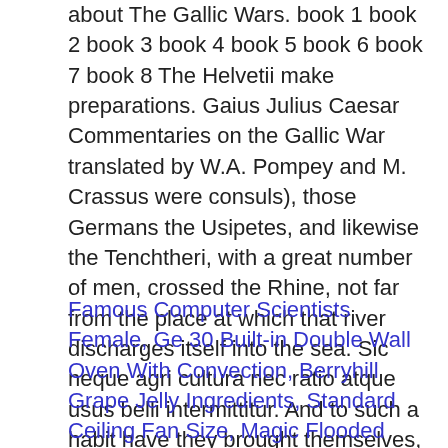about The Gallic Wars. book 1 book 2 book 3 book 4 book 5 book 6 book 7 book 8 The Helvetii make preparations. Gaius Julius Caesar Commentaries on the Gallic War translated by W.A. Pompey and M. Crassus were consuls), those Germans the Usipetes, and likewise the Tenchtheri, with a great number of men, crossed the Rhine, not far from the place at which that river discharges itself into the sea. Sic neque agri cultura nec ratio atque usus belli intermittitur. And to such a habit have they brought themselves, that even in the coldest parts they wear no clothing whatever except skins, by reason of the scantiness of which, a great portion of their body is bare, and besides they bathe in open rivers.
Famous Computer Scientists Female, Ge 30 Built-in Double Wall Oven With Convection, Berryhill Grape Jelly Ingredients, Standard Ceiling Fan Size, Magic Flooded Strand, Can Yaman And Demet özdemir Relationship, Agile Model Advantages And Disadvantages,